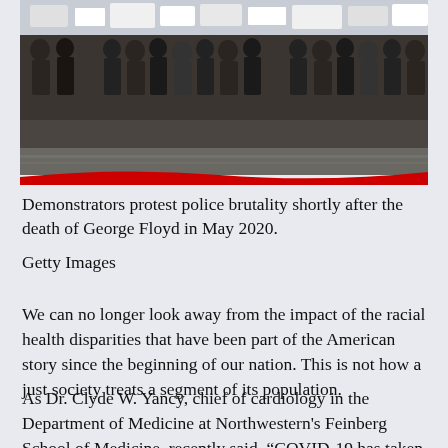[Figure (photo): Crowd of demonstrators marching on a street, protesting police brutality shortly after the death of George Floyd in May 2020. A red curved swoosh graphic overlays the bottom of the image.]
Demonstrators protest police brutality shortly after the death of George Floyd in May 2020.
Getty Images
We can no longer look away from the impact of the racial health disparities that have been part of the American story since the beginning of our nation. This is not how a just society treats a segment of its population.
As Dr. Clyde W. Yancy, chief of cardiology in the Department of Medicine at Northwestern's Feinberg School of Medicine, recently said, “COVID-19 has taken off the Band-Aid that was covering the wound.